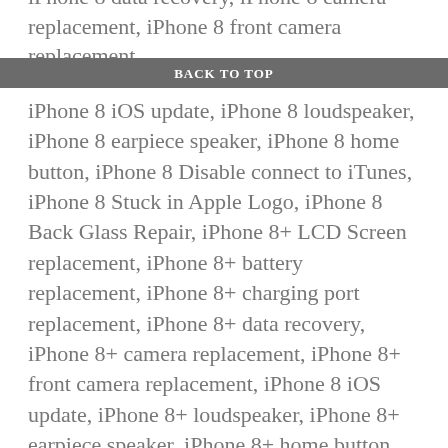BACK TO TOP
iPhone 8 data recovery, iPhone 8 camera replacement, iPhone 8 front camera replacement, iPhone 8 iOS update, iPhone 8 loudspeaker, iPhone 8 earpiece speaker, iPhone 8 home button, iPhone 8 Disable connect to iTunes, iPhone 8 Stuck in Apple Logo, iPhone 8 Back Glass Repair, iPhone 8+ LCD Screen replacement, iPhone 8+ battery replacement, iPhone 8+ charging port replacement, iPhone 8+ data recovery, iPhone 8+ camera replacement, iPhone 8+ front camera replacement, iPhone 8 iOS update, iPhone 8+ loudspeaker, iPhone 8+ earpiece speaker, iPhone 8+ home button, iPhone 8+ Disable connect to iTunes, iPhone 8+ Stuck in Apple Logo, iPhone 8+ Back Glass Repair are the common issues we repair every day in iFixgeek.
Model numbers: A1863, A1905, A1906, A1864, A1897, A1898